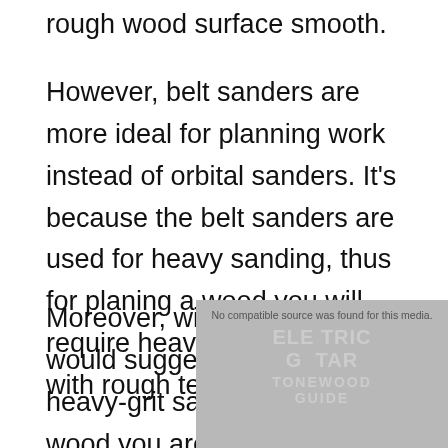rough wood surface smooth.
However, belt sanders are more ideal for planning work instead of orbital sanders. It's because the belt sanders are used for heavy sanding, thus for planing a wood you will require heavy sanding to deal with rough texturing.
Moreover, with a belt sander, I would suggest you should use heavy-grit sandpaper if the wood you are going to flatten is thick and textured.
[Figure (screenshot): Video player placeholder showing 'No compatible source was found for this media.' message with ELECTRIC GUITAR TONEWOOD GUIDE text overlay in gray]